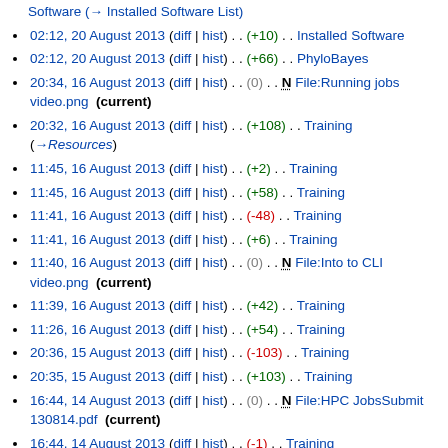Software (→ Installed Software List)
02:12, 20 August 2013 (diff | hist) . . (+10) . . Installed Software
02:12, 20 August 2013 (diff | hist) . . (+66) . . PhyloBayes
20:34, 16 August 2013 (diff | hist) . . (0) . . N File:Running jobs video.png (current)
20:32, 16 August 2013 (diff | hist) . . (+108) . . Training (→Resources)
11:45, 16 August 2013 (diff | hist) . . (+2) . . Training
11:45, 16 August 2013 (diff | hist) . . (+58) . . Training
11:41, 16 August 2013 (diff | hist) . . (-48) . . Training
11:41, 16 August 2013 (diff | hist) . . (+6) . . Training
11:40, 16 August 2013 (diff | hist) . . (0) . . N File:Into to CLI video.png (current)
11:39, 16 August 2013 (diff | hist) . . (+42) . . Training
11:26, 16 August 2013 (diff | hist) . . (+54) . . Training
20:36, 15 August 2013 (diff | hist) . . (-103) . . Training
20:35, 15 August 2013 (diff | hist) . . (+103) . . Training
16:44, 14 August 2013 (diff | hist) . . (0) . . N File:HPC JobsSubmit 130814.pdf (current)
16:44, 14 August 2013 (diff | hist) . . (-1) . . Training